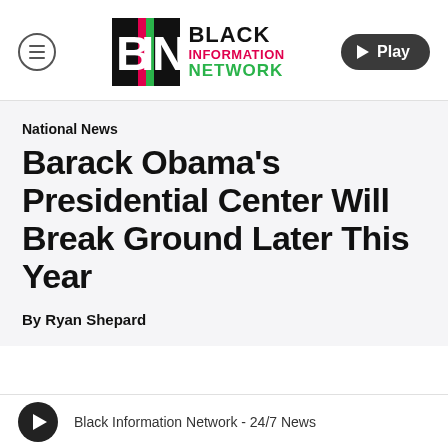[Figure (logo): Black Information Network (BIN) logo with stylized B, I, N letters in black square, and text BLACK INFORMATION NETWORK with INFORMATION in red and NETWORK in green]
Barack Obama's Presidential Center Will Break Ground Later This Year
National News
By Ryan Shepard
Black Information Network - 24/7 News